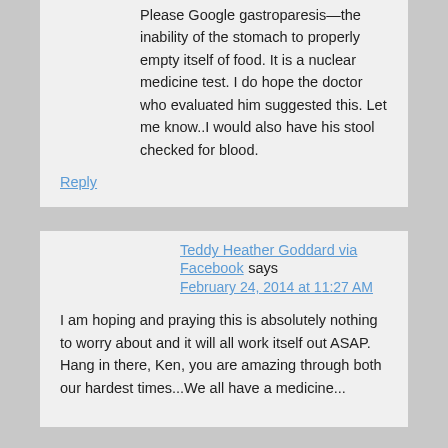Please Google gastroparesis—the inability of the stomach to properly empty itself of food. It is a nuclear medicine test. I do hope the doctor who evaluated him suggested this. Let me know..I would also have his stool checked for blood.
Reply
Teddy Heather Goddard via Facebook says
February 24, 2014 at 11:27 AM
I am hoping and praying this is absolutely nothing to worry about and it will all work itself out ASAP. Hang in there, Ken, you are amazing through both our hardest times... We all have a medicine...